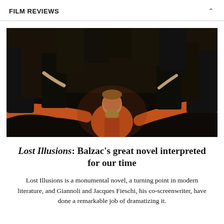FILM REVIEWS
[Figure (photo): Movie still from Lost Illusions showing a young man in an orange coat with arms outstretched, surrounded by a crowd in dark period costumes]
Lost Illusions: Balzac's great novel interpreted for our time
Lost Illusions is a monumental novel, a turning point in modern literature, and Giannoli and Jacques Fieschi, his co-screenwriter, have done a remarkable job of dramatizing it.